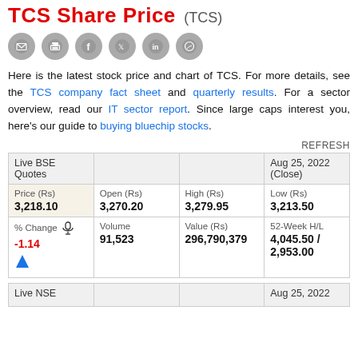TCS Share Price (TCS)
[Figure (other): Social sharing icons: email, print, Facebook, Twitter, LinkedIn, WhatsApp]
Here is the latest stock price and chart of TCS. For more details, see the TCS company fact sheet and quarterly results. For a sector overview, read our IT sector report. Since large caps interest you, here's our guide to buying bluechip stocks.
REFRESH
| Live BSE Quotes |  | Aug 25, 2022 (Close) |
| --- | --- | --- |
| Price (Rs)
3,218.10 | Open (Rs)
3,270.20 | High (Rs)
3,279.95 | Low (Rs)
3,213.50 |
| % Change
-1.14 | Volume
91,523 | Value (Rs)
296,790,379 | 52-Week H/L
4,045.50 / 2,953.00 |
| Live NSE |  | Aug 25, 2022 |
| --- | --- | --- |